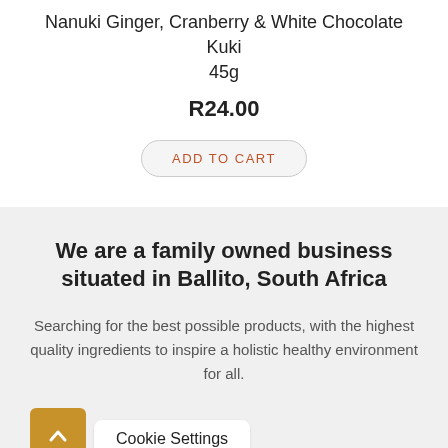Nanuki Ginger, Cranberry & White Chocolate Kuki 45g
R24.00
ADD TO CART
We are a family owned business situated in Ballito, South Africa
Searching for the best possible products, with the highest quality ingredients to inspire a holistic healthy environment for all.
Cookie Settings